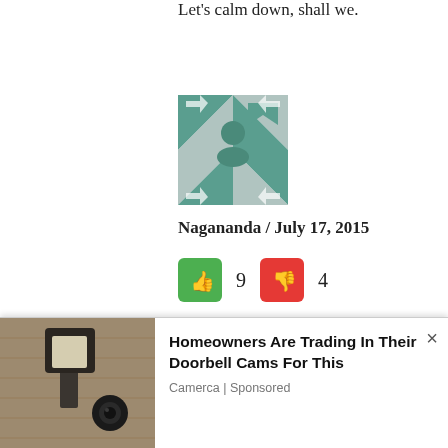Let's calm down, shall we.
[Figure (logo): User avatar — teal/grey geometric pattern avatar icon]
Nagananda / July 17, 2015
👍 9  👎 4
When Mr Victor Ivan referred Mr Viayangoda to me sometime back, seeking financial support to upkeep Ravaya Newspaper, claiming that it was facing a severe financial drawback, the way Mr Viyangoda talked to me, made me to believe that it was a genuine
[Figure (photo): Advertisement photo showing an outdoor security/doorbell camera mounted on a wall]
Homeowners Are Trading In Their Doorbell Cams For This
Camerca | Sponsored